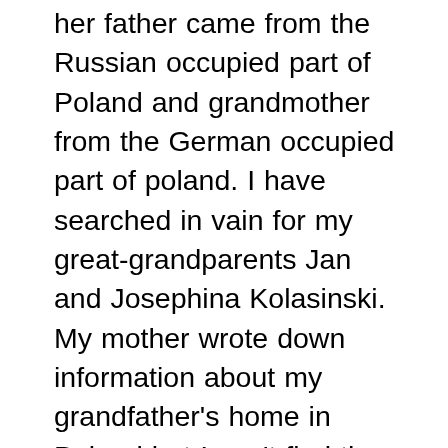her father came from the Russian occupied part of Poland and grandmother from the German occupied part of poland. I have searched in vain for my great-grandparents Jan and Josephina Kolasinski. My mother wrote down information about my grandfather's home in Poland but I can't find the village. The information I have is Gmina Jeleniewo and Powait Sulwaki. My great grandfather purchased a small farm there and also came to America several times to work in the coal mines?I presume in Pennsylvania. My great-grandfather and two of my grandfather's brother were in the kossack army. My grandfather came to the US alone when he was 16years old. My mother also has the last name of Kolaszewski and possible for my great grandparents. It is frustrating because my grandmother received a copy of my grandfather's baptismal record from Poland but destroyed it because my grandfather lied about his age